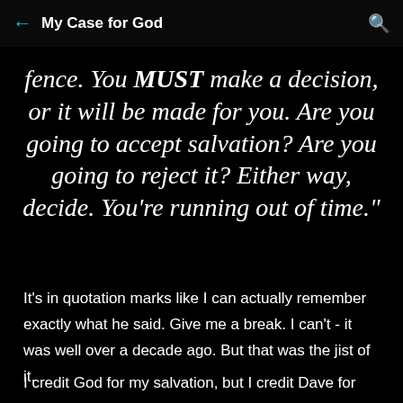My Case for God
fence. You MUST make a decision, or it will be made for you. Are you going to accept salvation? Are you going to reject it? Either way, decide. You're running out of time."
It's in quotation marks like I can actually remember exactly what he said. Give me a break. I can't - it was well over a decade ago. But that was the jist of it.
I credit God for my salvation, but I credit Dave for the